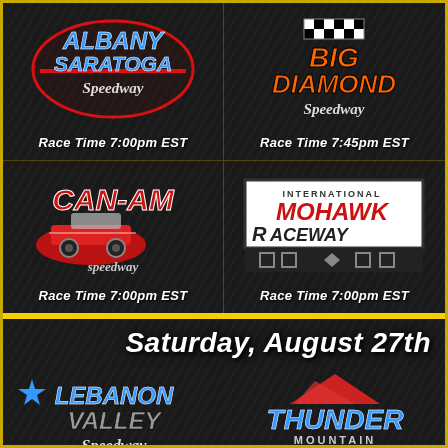[Figure (logo): Albany-Saratoga Speedway logo with red oval and blue text]
Race Time 7:00pm EST
[Figure (logo): Big Diamond Speedway logo with checkered flag and orange text]
Race Time 7:45pm EST
[Figure (logo): Can-Am Speedway logo with red race car and red text]
Race Time 7:00pm EST
[Figure (logo): Mohawk International Raceway logo with red and black border]
Race Time 7:00pm EST
Saturday, August 27th
[Figure (logo): Lebanon Valley Speedway logo with blue and grey text and star]
[Figure (logo): Thunder Mountain Speedway logo with blue text and red mountain graphic]